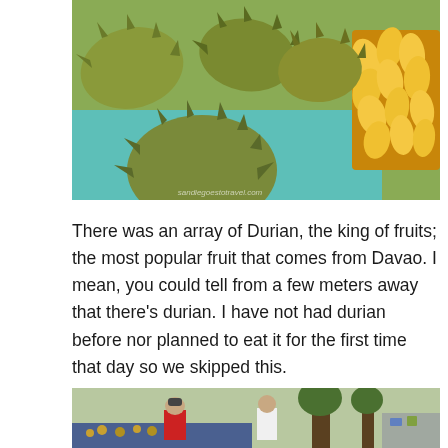[Figure (photo): Photo of durian fruits and mangoes displayed at a market stall. Several large spiky durian fruits are piled on a teal/turquoise surface, with yellow mangoes in a brown box on the right. A watermark reads 'sandiegoestotravel.com'.]
There was an array of Durian, the king of fruits; the most popular fruit that comes from Davao. I mean, you could tell from a few meters away that there's durian. I have not had durian before nor planned to eat it for the first time that day so we skipped this.
[Figure (photo): Photo of people at an outdoor market or street scene. A man in a red shirt and cap crouches near small fruits on a blue tarp. A woman in a white top stands nearby. Trees and debris visible in background.]